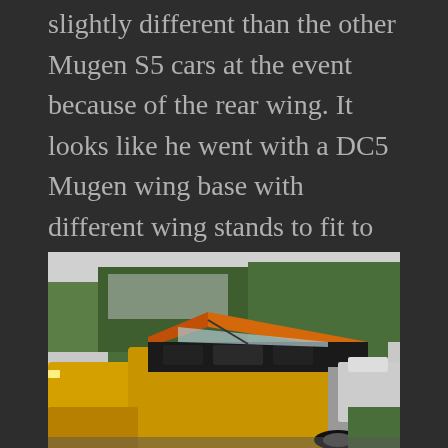slightly different than the other Mugen S5 cars at the event because of the rear wing. It looks like he went with a DC5 Mugen wing base with different wing stands to fit to the trunk. Not 100% sure but it definitely isn't a S2000 Mugen wing. Maybe he opted for the DC5 wing to hint at the fact that he has a K24 swap under the hood. Cool build. Kinda sucks that it was tucked away in the corner…
[Figure (photo): Photo of yellow sports cars (Honda S2000s) at a car show/event, one with the hood open showing an orange engine bay. Trees and a building visible in the background.]